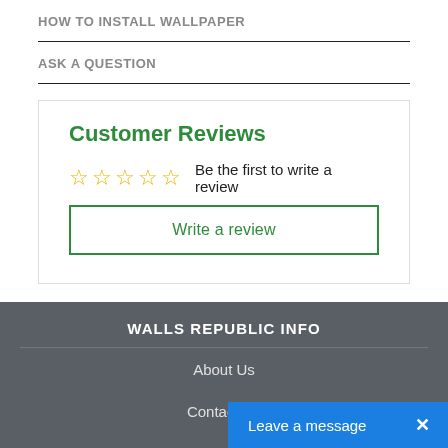HOW TO INSTALL WALLPAPER
ASK A QUESTION
Customer Reviews
☆☆☆☆☆ Be the first to write a review
Write a review
WALLS REPUBLIC INFO
About Us
Contact Us
Careers
Leave a message ✕